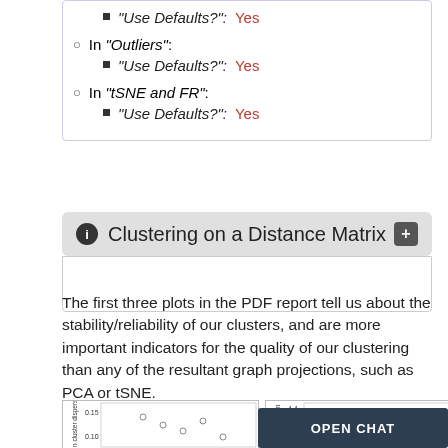"Use Defaults?": Yes
In "Outliers":
"Use Defaults?": Yes
In "tSNE and FR":
"Use Defaults?": Yes
Clustering on a Distance Matrix
The first three plots in the PDF report tell us about the stability/reliability of our clusters, and are more important indicators for the quality of our clustering than any of the resultant graph projections, such as PCA or tSNE.
[Figure (scatter-plot): Two partial scatter plots showing cluster dispersion, partially cut off at the bottom of the page. Left plot y-axis labeled 'n cluster dispersion' with values 0.10, 0.15. Right plot y-axis labeled 'ster dispersion' with values 4.0, 4.2, 4.4. An 'OPEN CHAT' dark button overlay is visible.]